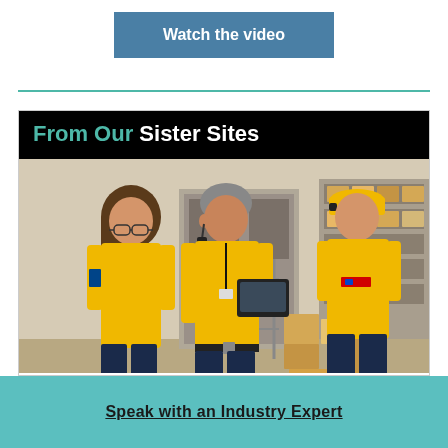Watch the video
[Figure (photo): Three warehouse workers in yellow uniforms in a logistics/warehouse setting, two facing a manager who holds a tablet]
From Our Sister Sites
Speak with an Industry Expert